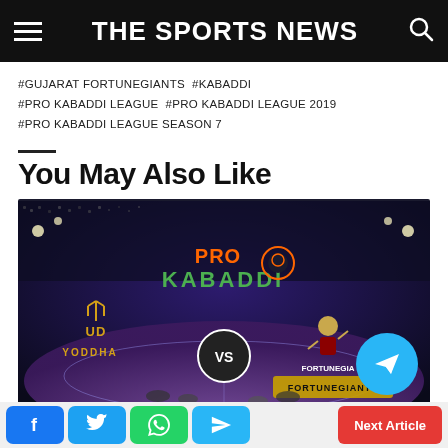THE SPORTS NEWS
#GUJARAT FORTUNEGIANTS  #KABADDI
#PRO KABADDI LEAGUE  #PRO KABADDI LEAGUE 2019
#PRO KABADDI LEAGUE SEASON 7
You May Also Like
[Figure (photo): Pro Kabaddi League arena image showing UP Yoddha vs Gujarat Fortunegiants matchup with 'VS' circle in center]
Facebook | Twitter | WhatsApp | Telegram | Next Article